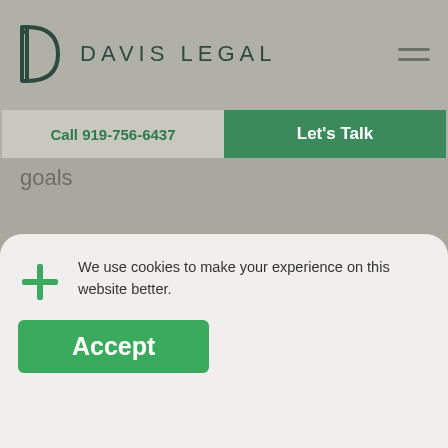DAVIS LEGAL
Call 919-756-6437
Let's Talk
goals
03
Collaborate
We use cookies to make your experience on this website better.
Accept